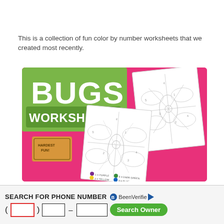This is a collection of fun color by number worksheets that we created most recently.
[Figure (illustration): Bugs Worksheets cover image showing a colorful pink and green banner with 'BUGS WORKSHEETS' text and color-by-number dragonfly/butterfly worksheets.]
[Figure (other): Advertisement banner: 'SEARCH FOR PHONE NUMBER' with BeenVerified logo and phone number input fields with red-bordered area code box and green 'Search Owner' button.]